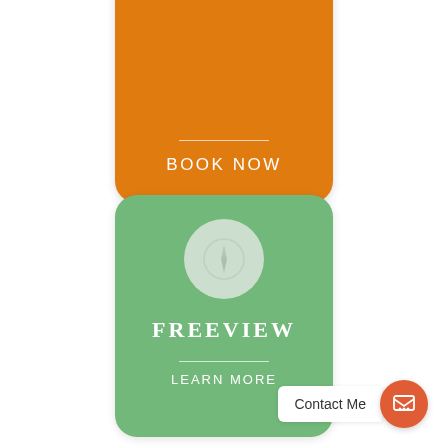[Figure (screenshot): Orange rounded card with a horizontal divider line and 'BOOK NOW' text in white uppercase letters]
[Figure (screenshot): Green rounded card with a compass icon in a light circle, 'FREEVIEW' text in white serif uppercase, a divider line, and 'LEARN MORE' text in white]
Contact Me